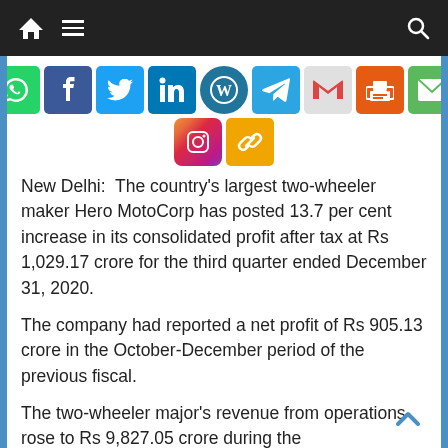Navigation bar with home, menu, and search icons
[Figure (other): Social media sharing icons: WhatsApp, Facebook, Twitter, LinkedIn, WordPress, Telegram, Gmail, Print, Email, Instagram, Link]
New Delhi: The country's largest two-wheeler maker Hero MotoCorp has posted 13.7 per cent increase in its consolidated profit after tax at Rs 1,029.17 crore for the third quarter ended December 31, 2020.
The company had reported a net profit of Rs 905.13 crore in the October-December period of the previous fiscal.
The two-wheeler major's revenue from operations rose to Rs 9,827.05 crore during the